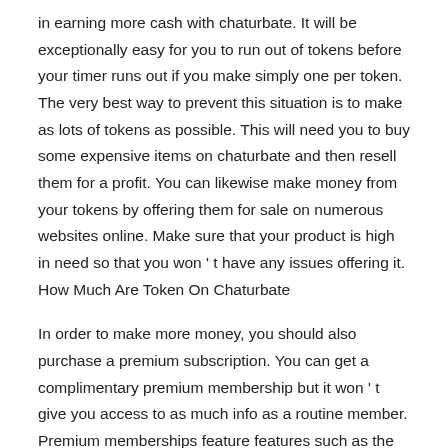in earning more cash with chaturbate. It will be exceptionally easy for you to run out of tokens before your timer runs out if you make simply one per token. The very best way to prevent this situation is to make as lots of tokens as possible. This will need you to buy some expensive items on chaturbate and then resell them for a profit. You can likewise make money from your tokens by offering them for sale on numerous websites online. Make sure that your product is high in need so that you won ' t have any issues offering it. How Much Are Token On Chaturbate
In order to make more money, you should also purchase a premium subscription. You can get a complimentary premium membership but it won ' t give you access to as much info as a routine member. Premium memberships feature features such as the capability to transmit straight to YouTube and Vimeo. They also come with unique functions such as a chat feature that enables users to interact while they are broadcasting. This is valuable when you wish to make it easier for your users to engage with your